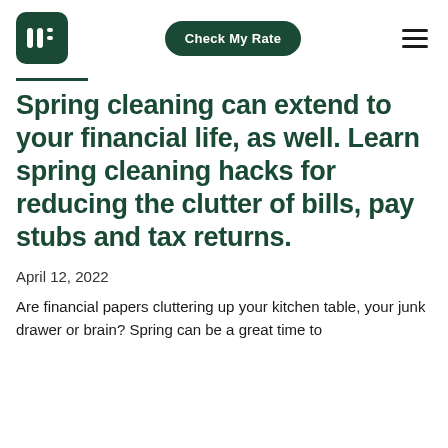Check My Rate
Spring cleaning can extend to your financial life, as well. Learn spring cleaning hacks for reducing the clutter of bills, pay stubs and tax returns.
April 12, 2022
Are financial papers cluttering up your kitchen table, your junk drawer or brain? Spring can be a great time to